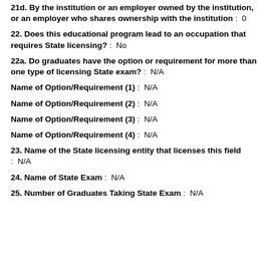21d. By the institution or an employer owned by the institution, or an employer who shares ownership with the institution: 0
22. Does this educational program lead to an occupation that requires State licensing?: No
22a. Do graduates have the option or requirement for more than one type of licensing State exam?: N/A
Name of Option/Requirement (1): N/A
Name of Option/Requirement (2): N/A
Name of Option/Requirement (3): N/A
Name of Option/Requirement (4): N/A
23. Name of the State licensing entity that licenses this field: N/A
24. Name of State Exam: N/A
25. Number of Graduates Taking State Exam: N/A